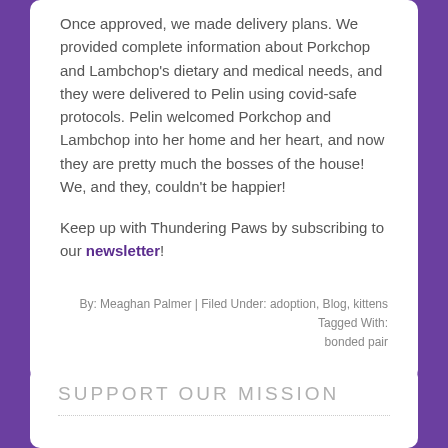Once approved, we made delivery plans. We provided complete information about Porkchop and Lambchop's dietary and medical needs, and they were delivered to Pelin using covid-safe protocols. Pelin welcomed Porkchop and Lambchop into her home and her heart, and now they are pretty much the bosses of the house! We, and they, couldn't be happier!
Keep up with Thundering Paws by subscribing to our newsletter!
By: Meaghan Palmer | Filed Under: adoption, Blog, kittens Tagged With: bonded pair
SUPPORT OUR MISSION